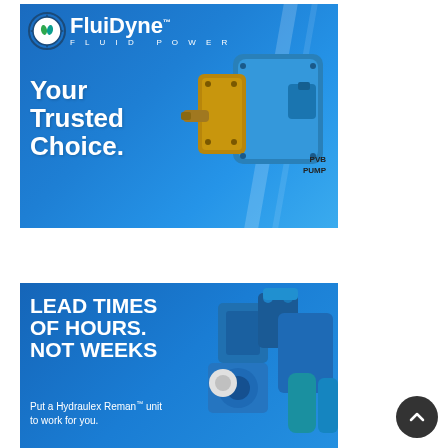[Figure (illustration): FluidDyne Fluid Power advertisement banner. Blue gradient background with company logo (gear with fluid drops), tagline 'Your Trusted Choice.' in large white bold text, and a photograph of a blue/gold PVB pump on the right side.]
[Figure (illustration): Hydraulex Reman advertisement banner. Dark blue background with bold white text 'LEAD TIMES OF HOURS. NOT WEEKS' and sub-text 'Put a Hydraulex Reman™ unit to work for you.' Photo of hydraulic machinery components on right.]